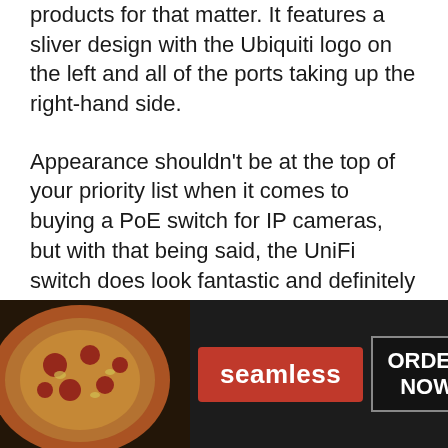products for that matter. It features a sliver design with the Ubiquiti logo on the left and all of the ports taking up the right-hand side.
Appearance shouldn't be at the top of your priority list when it comes to buying a PoE switch for IP cameras, but with that being said, the UniFi switch does look fantastic and definitely stands out from the crowd.
For complete and total control of your
[Figure (photo): Seamless food delivery advertisement banner. Left side shows pizza image. Center has red 'seamless' button. Right side has 'ORDER NOW' button in bordered box with X close button.]